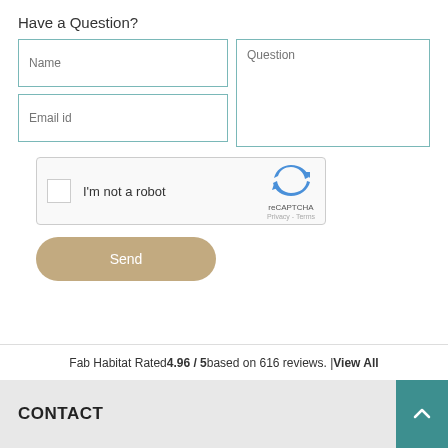Have a Question?
[Figure (screenshot): Web form with Name input, Email id input, Question textarea, reCAPTCHA checkbox widget, and Send button]
Fab Habitat Rated 4.96 / 5 based on 616 reviews. | View All
CONTACT